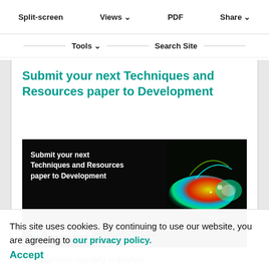one or more recent preprints and place them in a broader context.
Split-screen | Views | PDF | Share | Tools | Search Site
Submit your next Techniques and Resources paper to Development
[Figure (illustration): Dark banner advertisement showing text 'Submit your next Techniques and Resources paper to Development' with a colorful fluorescent microscopy image of a zebrafish embryo on the right, and the Development journal logo (globe icon) at bottom left.]
Development regularly publishes
Techniques and Resources papers. These manuscripts describe a novel technique, a substantial advance of an existing technique, or a new
This site uses cookies. By continuing to use our website, you are agreeing to our privacy policy. Accept